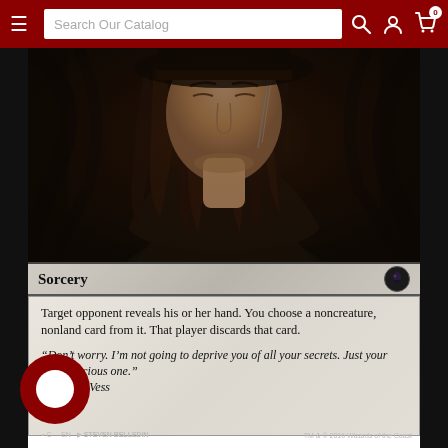Search Our Catalog
[Figure (photo): Screenshot of a Magic: The Gathering card product page. The card shown is a Sorcery card with a dark fantasy illustration of a figure with long dark hair. The card text reads: Target opponent reveals his or her hand. You choose a noncreature, nonland card from it. That player discards that card. Flavor text: 'Don't worry. I'm not going to deprive you of all your secrets. Just your most precious one.' — Liliana Vess. Copyright TM & © 2016 Wizards of the Coast. Illustrated by Steven Belledin.]
Sorcery
Target opponent reveals his or her hand. You choose a noncreature, nonland card from it. That player discards that card.
“Don’t worry. I’m not going to deprive you of all your secrets. Just your most precious one.”
—Liliana Vess
TM & © 2016 Wizards of the Coast • Steven Belledin